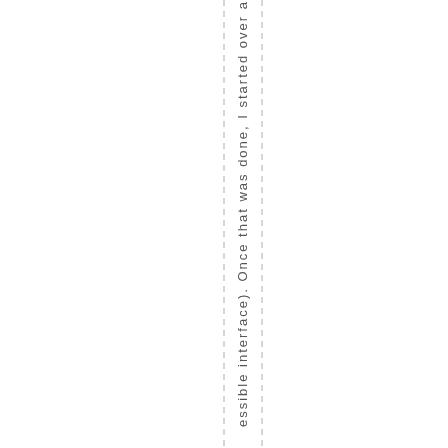essible interface). Once that was done, I started over a